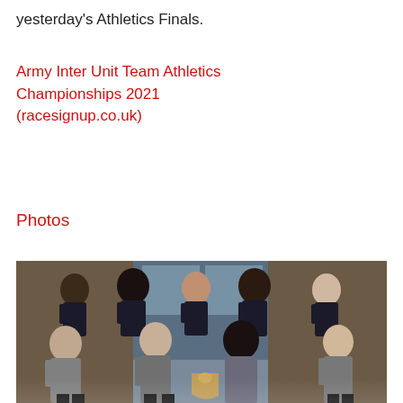yesterday's Athletics Finals.
Army Inter Unit Team Athletics Championships 2021 (racesignup.co.uk)
Photos
[Figure (photo): Group photo of a military athletics team, with athletes in dark singlets standing in the back row and others in grey t-shirts seated/kneeling in the front, holding a large shield trophy.]